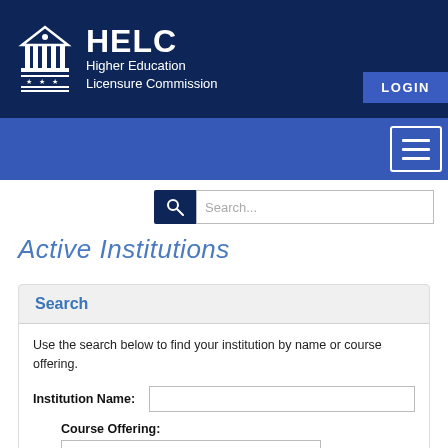HELC Higher Education Licensure Commission
[Figure (logo): HELC logo with classical building/pillar icon and text 'HELC Higher Education Licensure Commission']
Active Institutions
Search
Use the search below to find your institution by name or course offering.
Institution Name:
Course Offering: